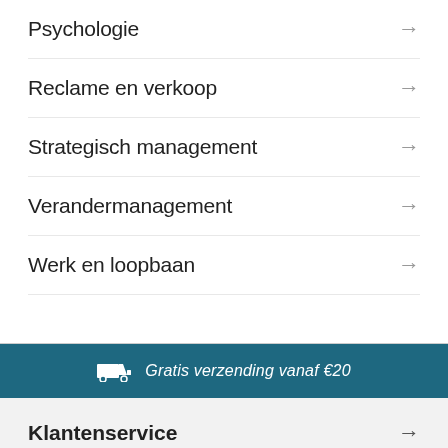Psychologie →
Reclame en verkoop →
Strategisch management →
Verandermanagement →
Werk en loopbaan →
Gratis verzending vanaf €20
Klantenservice →
Zakelijk →